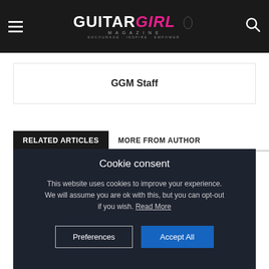Guitar Girl Magazine — Encourage. Inspire. Empower.
GGM Staff
RELATED ARTICLES  MORE FROM AUTHOR
Cookie consent
This website uses cookies to improve your experience. We will assume you are ok with this, but you can opt-out if you wish. Read More
The Industry Gets to Work at Summer NAMM